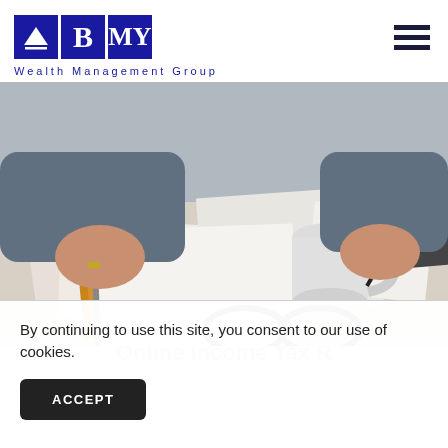[Figure (logo): BMY Wealth Management Group logo with three blue squares containing a mountain/triangle icon, letter B, and letter M Y, and the text 'Wealth Management Group' below]
[Figure (photo): A person holding a coffee cup and writing with a pen on documents, with a notebook, glasses, and a calculator on a desk]
By continuing to use this site, you consent to our use of cookies.
ACCEPT